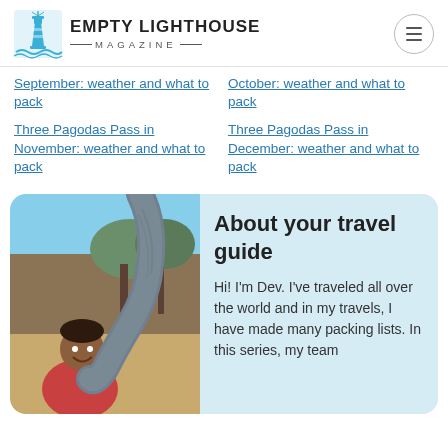EMPTY LIGHTHOUSE MAGAZINE
September: weather and what to pack
October: weather and what to pack
Three Pagodas Pass in November: weather and what to pack
Three Pagodas Pass in December: weather and what to pack
[Figure (photo): Person smiling next to an elephant trunk outdoors]
About your travel guide
Hi! I'm Dev. I've traveled all over the world and in my travels, I have made many packing lists. In this series, my team